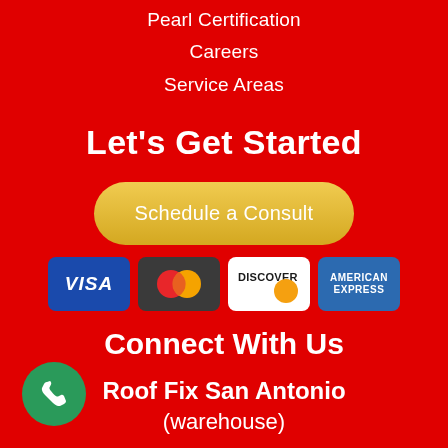Pearl Certification
Careers
Service Areas
Let's Get Started
Schedule a Consult
[Figure (logo): Payment method logos: Visa, Mastercard, Discover, American Express]
Connect With Us
Roof Fix San Antonio
(warehouse)
[Figure (illustration): Green circular phone call button with white phone icon, bottom left corner]